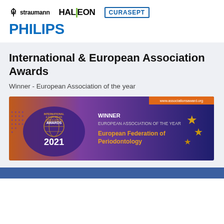[Figure (logo): Straumann logo - stylized S icon with 'straumann' text]
[Figure (logo): Haleon logo - bold text with green vertical bar]
[Figure (logo): Curasept logo - text in blue border box]
[Figure (logo): Philips logo - bold blue text]
International & European Association Awards
Winner - European Association of the year
[Figure (infographic): Award banner showing 'WINNER EUROPEAN ASSOCIATION OF THE YEAR - European Federation of Periodontology' with 2021 awards branding, dark navy and orange/purple gradient background with gold stars]
[Figure (other): Bottom blue bar partial view]